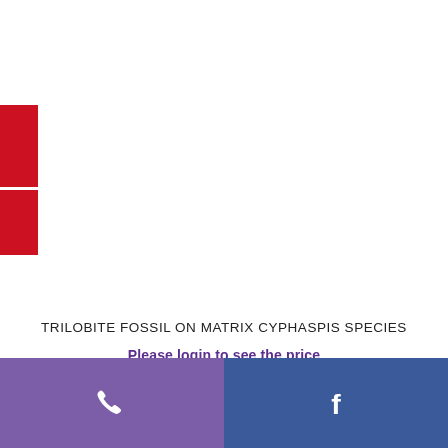[Figure (illustration): Two red rectangular blocks stacked vertically on the left side with a thin white divider between them]
TRILOBITE FOSSIL ON MATRIX CYPHASPIS SPECIES
Please login to see the price
Phone icon and Facebook icon in footer bar